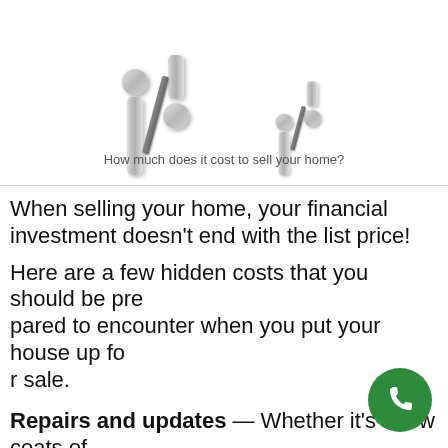[Figure (illustration): Two 3D percent sign symbols rendered in light gray/silver, shown as physical objects]
How much does it cost to sell your home?
When selling your home, your financial investment doesn't end with the list price!
Here are a few hidden costs that you should be prepared to encounter when you put your house up for sale.
Repairs and updates — Whether it's a few coats of